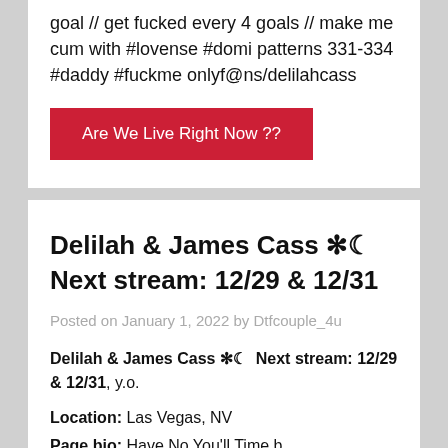goal // get fucked every 4 goals // make me cum with #lovense #domi patterns 331-334 #daddy #fuckme onlyf@ns/delilahcass
Are We Live Right Now ??
Delilah & James Cass ❋☾  Next stream: 12/29 & 12/31
Posted on January 1, 2022 by Dtfcouple_4u
Delilah & James Cass ❋☾  Next stream: 12/29 & 12/31, y.o.
Location: Las Vegas, NV
Page bio: